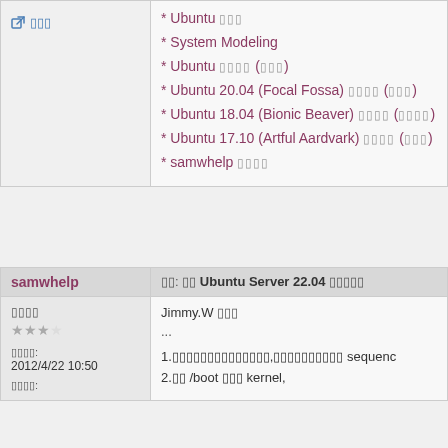* Ubuntu □□□
* System Modeling
* Ubuntu □□□□ (□□□)
* Ubuntu 20.04 (Focal Fossa) □□□□ (□□□)
* Ubuntu 18.04 (Bionic Beaver) □□□□ (□□□□)
* Ubuntu 17.10 (Artful Aardvark) □□□□ (□□□)
* samwhelp □□□□
↗ □□□
samwhelp
□□: □□ Ubuntu Server 22.04 □□□□□
□□□□
★★★★
□□□□: 2012/4/22 10:50
□□□□:
Jimmy.W □□□
...
1.□□□□□□□□□□□□□□,□□□□□□□□□□ sequenc
2.□□ /boot □□□ kernel,